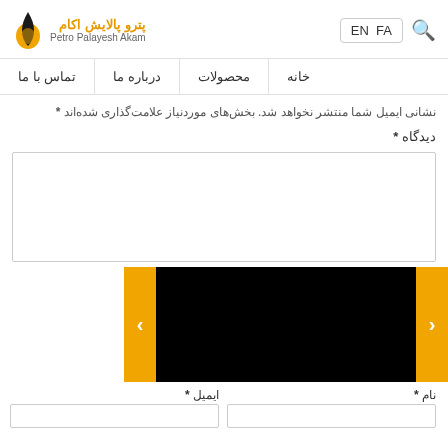[Figure (logo): Petro Palayesh Akam logo with orange flame/droplet icon, Persian text پترو پالایش اکام and English text Petro Palayesh Akam]
EN  FA  [search icon]
خانه  محصولات  درباره ما  تماس با ما
نشانی ایمیل شما منتشر نخواهد شد. بخش‌های موردنیاز علامت‌گذاری شده‌اند *
دیدگاه *
[Figure (screenshot): Slider section with orange left arrow, black image on left; black image and orange right arrow on right]
نام *   ایمیل *